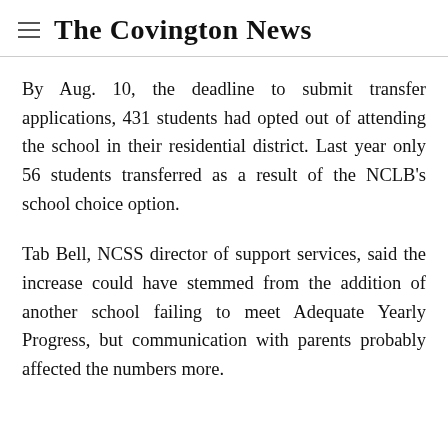The Covington News
By Aug. 10, the deadline to submit transfer applications, 431 students had opted out of attending the school in their residential district. Last year only 56 students transferred as a result of the NCLB's school choice option.
Tab Bell, NCSS director of support services, said the increase could have stemmed from the addition of another school failing to meet Adequate Yearly Progress, but communication with parents probably affected the numbers more.